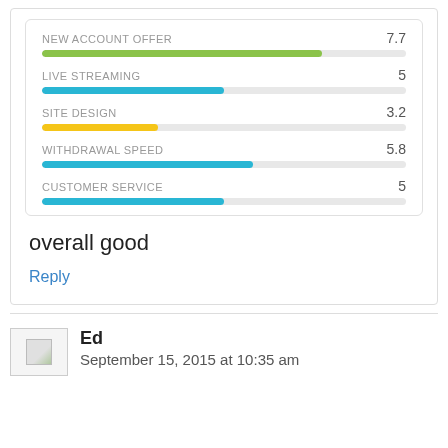[Figure (bar-chart): Ratings]
overall good
Reply
Ed
September 15, 2015 at 10:35 am